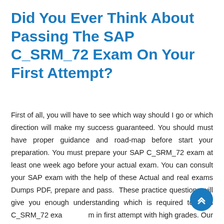Did You Ever Think About Passing The SAP C_SRM_72 Exam On Your First Attempt?
First of all, you will have to see which way should I go or which direction will make my success guaranteed. You should must have proper guidance and road-map before start your preparation. You must prepare your SAP C_SRM_72 exam at least one week ago before your actual exam. You can consult your SAP exam with the help of these Actual and real exams Dumps PDF, prepare and pass. These practice questions will give you enough understanding which is required to pass C_SRM_72 exam in first attempt with high grades. Our experts from multiple organizations are talented and qualified individuals who have reviewed each question and answer